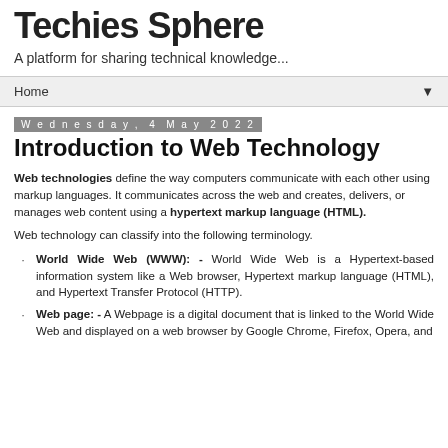Techies Sphere
A platform for sharing technical knowledge...
Home ▼
Wednesday, 4 May 2022
Introduction to Web Technology
Web technologies define the way computers communicate with each other using markup languages. It communicates across the web and creates, delivers, or manages web content using a hypertext markup language (HTML).
Web technology can classify into the following terminology.
World Wide Web (WWW): - World Wide Web is a Hypertext-based information system like a Web browser, Hypertext markup language (HTML), and Hypertext Transfer Protocol (HTTP).
Web page: - A Webpage is a digital document that is linked to the World Wide Web and displayed on a web browser by Google Chrome, Firefox, Opera, and